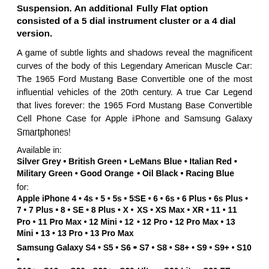Suspension. An additional Fully Flat option consisted of a 5 dial instrument cluster or a 4 dial version.
A game of subtle lights and shadows reveal the magnificent curves of the body of this Legendary American Muscle Car: The 1965 Ford Mustang Base Convertible one of the most influential vehicles of the 20th century. A true Car Legend that lives forever: the 1965 Ford Mustang Base Convertible Cell Phone Case for Apple iPhone and Samsung Galaxy Smartphones!
Available in:
Silver Grey • British Green • LeMans Blue • Italian Red • Military Green • Good Orange • Oil Black • Racing Blue
for:
Apple iPhone 4 • 4s • 5 • 5s • 5SE • 6 • 6s • 6 Plus • 6s Plus • 7 • 7 Plus • 8 • SE • 8 Plus • X • XS • XS Max • XR • 11 • 11 Pro • 11 Pro Max • 12 Mini • 12 • 12 Pro • 12 Pro Max • 13 Mini • 13 • 13 Pro • 13 Pro Max
Samsung Galaxy S4 • S5 • S6 • S7 • S8 • S8+ • S9 • S9+ • S10 • S10+ • S10e • S20 • S20+ • S20 Ultra • S20 Lite • S20 FE • S21 ...